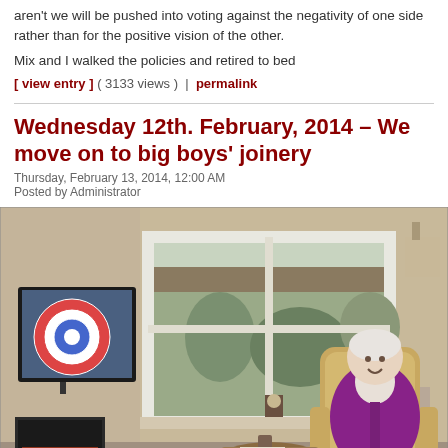aren't we will be pushed into voting against the negativity of one side rather than for the positive vision of the other.
Mix and I walked the policies and retired to bed
[ view entry ] ( 3133 views )  |  permalink
Wednesday 12th. February, 2014 – We move on to big boys' joinery
Thursday, February 13, 2014, 12:00 AM
Posted by Administrator
[Figure (photo): An elderly woman sitting in a wicker chair in a living room, smiling. A flat-screen TV is mounted on the left wall showing curling. A large window behind her shows a garden. There is a small round coffee table in front of her.]